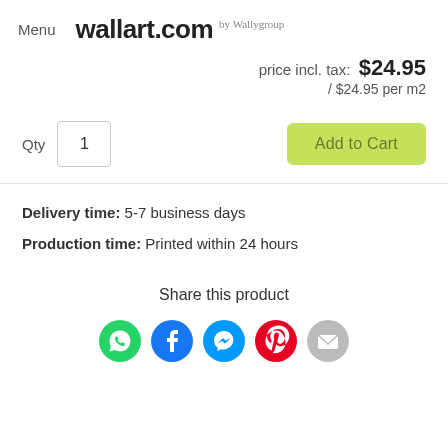Menu  wallart.com  by Wallygroup
price incl. tax: $24.95 / $24.95 per m2
Qty  1  Add to Cart
Delivery time: 5-7 business days
Production time: Printed within 24 hours
Share this product
[Figure (infographic): Social share icons: WhatsApp (green), Facebook (blue f), Messenger (blue lightning), Pinterest (red P), Email (grey envelope)]